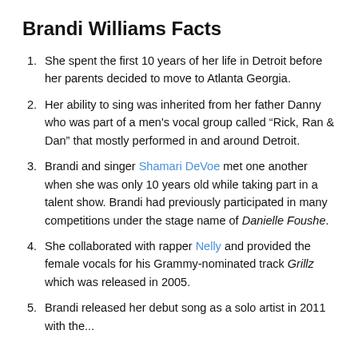Brandi Williams Facts
She spent the first 10 years of her life in Detroit before her parents decided to move to Atlanta Georgia.
Her ability to sing was inherited from her father Danny who was part of a men’s vocal group called “Rick, Ran & Dan” that mostly performed in and around Detroit.
Brandi and singer Shamari DeVoe met one another when she was only 10 years old while taking part in a talent show. Brandi had previously participated in many competitions under the stage name of Danielle Foushe.
She collaborated with rapper Nelly and provided the female vocals for his Grammy-nominated track Grillz which was released in 2005.
Brandi released her debut song as a solo artist in 2011 with the...